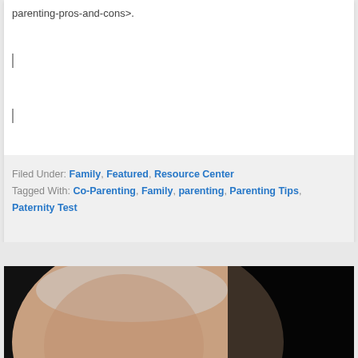parenting-pros-and-cons>.
Filed Under: Family, Featured, Resource Center
Tagged With: Co-Parenting, Family, parenting, Parenting Tips, Paternity Test
[Figure (photo): Dark photograph showing a pregnant woman's belly in profile, wearing a white top, against a dark/black background.]